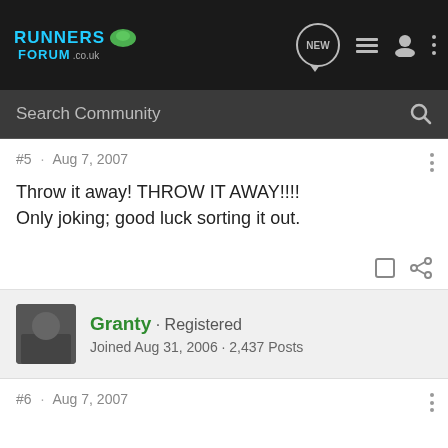[Figure (screenshot): Runners Forum website logo with cyan text and green icon]
Search Community
#5 · Aug 7, 2007
Throw it away! THROW IT AWAY!!!!
Only joking; good luck sorting it out.
Granty · Registered
Joined Aug 31, 2006 · 2,437 Posts
#6 · Aug 7, 2007